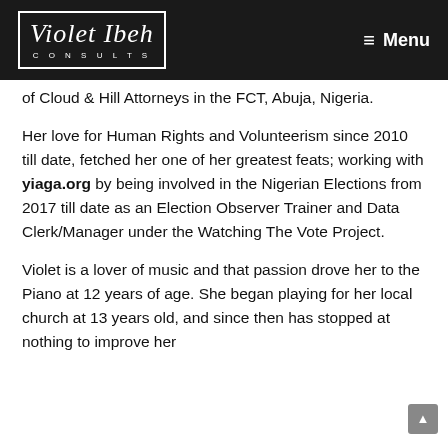Violet Ibeh Consults — Menu
of Cloud & Hill Attorneys in the FCT, Abuja, Nigeria.
Her love for Human Rights and Volunteerism since 2010 till date, fetched her one of her greatest feats; working with yiaga.org by being involved in the Nigerian Elections from 2017 till date as an Election Observer Trainer and Data Clerk/Manager under the Watching The Vote Project.
Violet is a lover of music and that passion drove her to the Piano at 12 years of age. She began playing for her local church at 13 years old, and since then has stopped at nothing to improve her